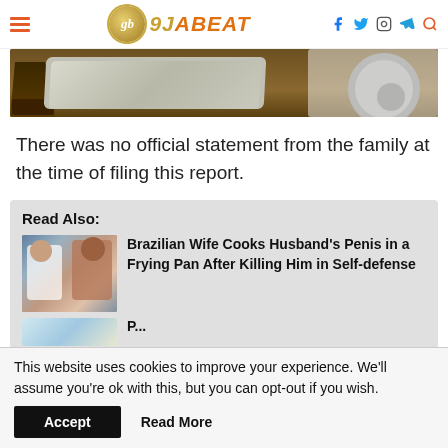9jaBeat navigation header with logo, social icons
[Figure (photo): Partial photo showing a car wheel, silver car panel, and feet on brown dirt ground]
There was no official statement from the family at the time of filing this report.
Read Also:
[Figure (photo): Thumbnail of two people, a man and woman]
Brazilian Wife Cooks Husband's Penis in a Frying Pan After Killing Him in Self-defense
[Figure (photo): Partial thumbnail of second read-also article]
This website uses cookies to improve your experience. We'll assume you're ok with this, but you can opt-out if you wish.